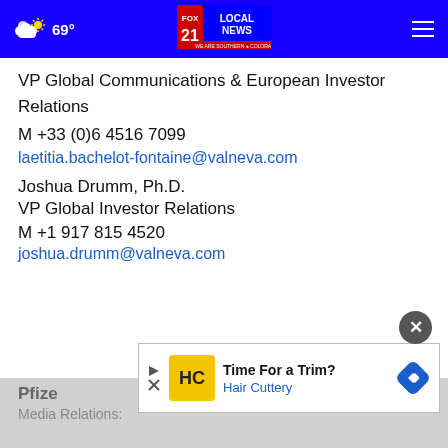69° FOX 21 LOCAL NEWS WE ARE SOUTHERN COLORADO
VP Global Communications & European Investor Relations
M +33 (0)6 4516 7099
laetitia.bachelot-fontaine@valneva.com
Joshua Drumm, Ph.D.
VP Global Investor Relations
M +1 917 815 4520
joshua.drumm@valneva.com
Pfize
Media Relations:
[Figure (screenshot): Advertisement: Time For a Trim? Hair Cuttery with yellow logo and blue diamond arrow icon]